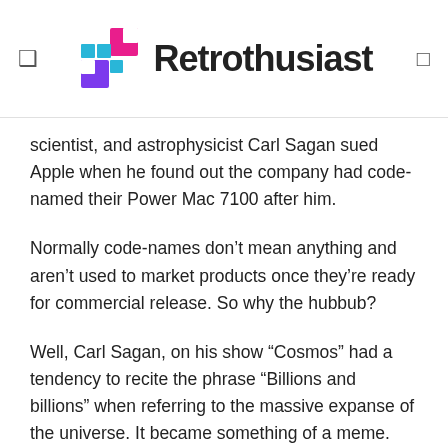Retrothusiast
scientist, and astrophysicist Carl Sagan sued Apple when he found out the company had code-named their Power Mac 7100 after him.
Normally code-names don’t mean anything and aren’t used to market products once they’re ready for commercial release. So why the hubbub?
Well, Carl Sagan, on his show “Cosmos” had a tendency to recite the phrase “Billions and billions” when referring to the massive expanse of the universe. It became something of a meme.
And, like with all innocent memes, it was used for corporate deviancy. Apple nicknamed the Power Mac 7100 the “Carl